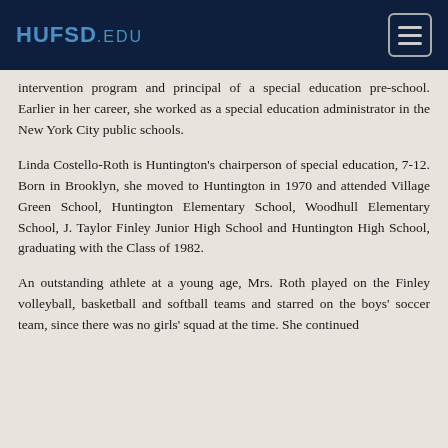HUFSD.EDU
intervention program and principal of a special education pre-school. Earlier in her career, she worked as a special education administrator in the New York City public schools.
Linda Costello-Roth is Huntington’s chairperson of special education, 7-12. Born in Brooklyn, she moved to Huntington in 1970 and attended Village Green School, Huntington Elementary School, Woodhull Elementary School, J. Taylor Finley Junior High School and Huntington High School, graduating with the Class of 1982.
An outstanding athlete at a young age, Mrs. Roth played on the Finley volleyball, basketball and softball teams and starred on the boys’ soccer team, since there was no girls’ squad at the time. She continued